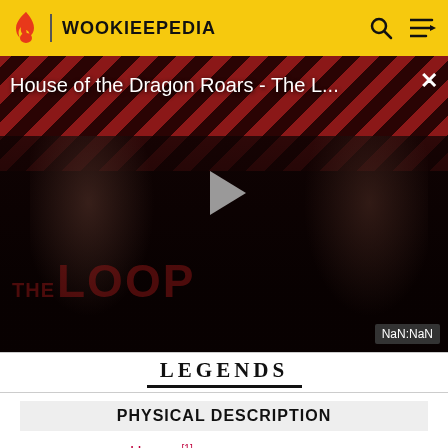WOOKIEEPEDIA
[Figure (screenshot): Video player showing 'House of the Dragon Roars - The L...' with a play button overlay, dark background with diagonal red/dark stripes, two silhouetted figures, 'THE LOOP' text watermark, and NaN:NaN timestamp badge.]
LEGENDS
PHYSICAL DESCRIPTION
SPECIES   Human[1]